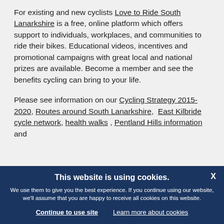For existing and new cyclists Love to Ride South Lanarkshire is a free, online platform which offers support to individuals, workplaces, and communities to ride their bikes. Educational videos, incentives and promotional campaigns with great local and national prizes are available. Become a member and see the benefits cycling can bring to your life.
Please see information on our Cycling Strategy 2015-2020, Routes around South Lanarkshire, East Kilbride cycle network, health walks , Pentland Hills information and
This website is using cookies. We use them to give you the best experience. If you continue using our website, we'll assume that you are happy to receive all cookies on this website.
Continue to use site    Learn more about cookies